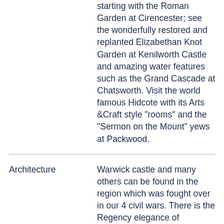starting with the Roman Garden at Cirencester; see the wonderfully restored and replanted Elizabethan Knot Garden at Kenilworth Castle and amazing water features such as the Grand Cascade at Chatsworth. Visit the world famous Hidcote with its Arts &Craft style "rooms" and the "Sermon on the Mount" yews at Packwood.
Architecture
Warwick castle and many others can be found in the region which was fought over in our 4 civil wars. There is the Regency elegance of Cheltenham